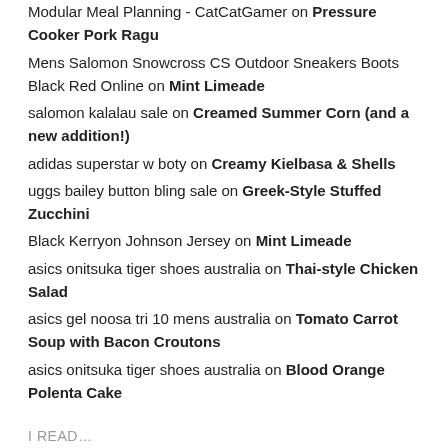Modular Meal Planning - CatCatGamer on Pressure Cooker Pork Ragu
Mens Salomon Snowcross CS Outdoor Sneakers Boots Black Red Online on Mint Limeade
salomon kalalau sale on Creamed Summer Corn (and a new addition!)
adidas superstar w boty on Creamy Kielbasa & Shells
uggs bailey button bling sale on Greek-Style Stuffed Zucchini
Black Kerryon Johnson Jersey on Mint Limeade
asics onitsuka tiger shoes australia on Thai-style Chicken Salad
asics gel noosa tri 10 mens australia on Tomato Carrot Soup with Bacon Croutons
asics onitsuka tiger shoes australia on Blood Orange Polenta Cake
I READ…
101cookbooks
David Lebovitz
El Sanchez
Flavor a Deux
Lunch at Sixpoint
Nom Nom Paleo